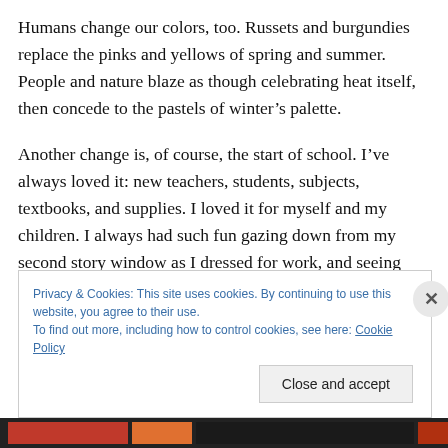Humans change our colors, too. Russets and burgundies replace the pinks and yellows of spring and summer. People and nature blaze as though celebrating heat itself, then concede to the pastels of winter's palette.
Another change is, of course, the start of school. I've always loved it: new teachers, students, subjects, textbooks, and supplies. I loved it for myself and my children. I always had such fun gazing down from my second story window as I dressed for work, and seeing their junior high marching band (the school one block
Privacy & Cookies: This site uses cookies. By continuing to use this website, you agree to their use.
To find out more, including how to control cookies, see here: Cookie Policy